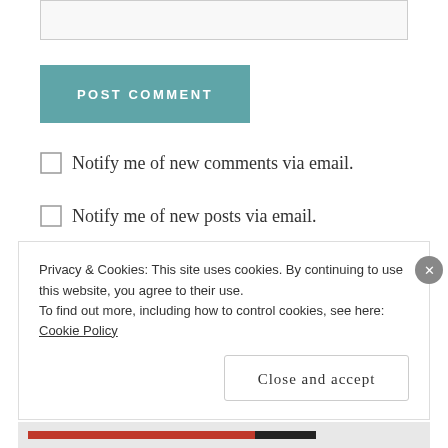[Figure (screenshot): Partial text input box at the top of the page]
POST COMMENT
Notify me of new comments via email.
Notify me of new posts via email.
Privacy & Cookies: This site uses cookies. By continuing to use this website, you agree to their use.
To find out more, including how to control cookies, see here: Cookie Policy
Close and accept